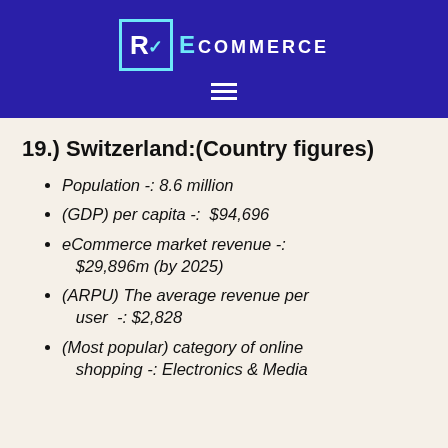Rv ECOMMERCE
19.) Switzerland:(Country figures)
Population -: 8.6 million
(GDP) per capita -:  $94,696
eCommerce market revenue -: $29,896m (by 2025)
(ARPU) The average revenue per user  -: $2,828
(Most popular) category of online shopping -: Electronics & Media